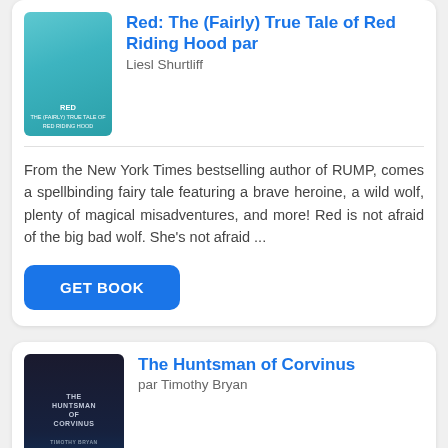[Figure (illustration): Book cover for Red: The (Fairly) True Tale of Red Riding Hood, featuring a girl in a red cape with a teal/blue background]
Red: The (Fairly) True Tale of Red Riding Hood par Liesl Shurtliff
From the New York Times bestselling author of RUMP, comes a spellbinding fairy tale featuring a brave heroine, a wild wolf, plenty of magical misadventures, and more! Red is not afraid of the big bad wolf. She's not afraid ...
[Figure (illustration): Book cover for The Huntsman of Corvinus, dark fantasy cover with blue/dark tones]
The Huntsman of Corvinus par Timothy Bryan